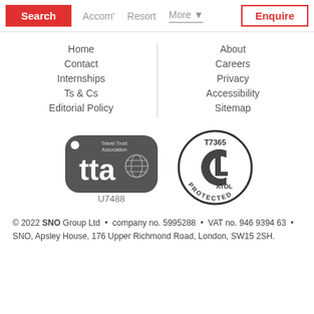Search | Accom' | Resort | More | Enquire
Home
Contact
Internships
Ts & Cs
Editorial Policy
About
Careers
Privacy
Accessibility
Sitemap
[Figure (logo): Travel Trust Association (TTA) logo badge, grey tag shape with 'tta' text and globe icon, U7488]
[Figure (logo): ATOL Protected circular badge, T7365]
© 2022 SNO Group Ltd • company no. 5995288 • VAT no. 946 9394 63 • SNO, Apsley House, 176 Upper Richmond Road, London, SW15 2SH.